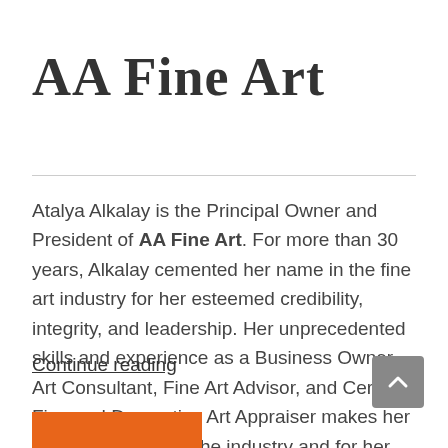AA Fine Art
Atalya Alkalay is the Principal Owner and President of AA Fine Art. For more than 30 years, Alkalay cemented her name in the fine art industry for her esteemed credibility, integrity, and leadership. Her unprecedented skills and experience as a Business Owner, Art Consultant, Fine Art Advisor, and Certified Fine and Decorative Art Appraiser makes her a valuable asset in the industry and for her clients.
Continue reading